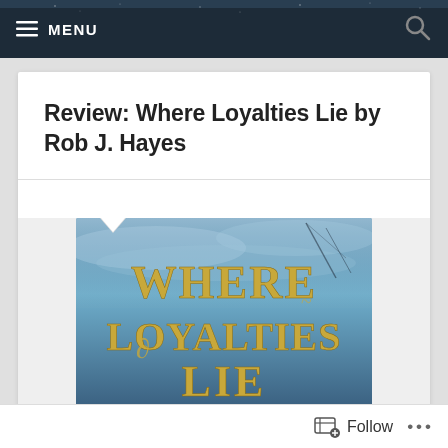MENU
Review: Where Loyalties Lie by Rob J. Hayes
[Figure (photo): Book cover of 'Where Loyalties Lie' by Rob J. Hayes — fantasy novel cover with blue atmospheric background and ornate gold lettering reading WHERE LOYALTIES LIE]
Follow